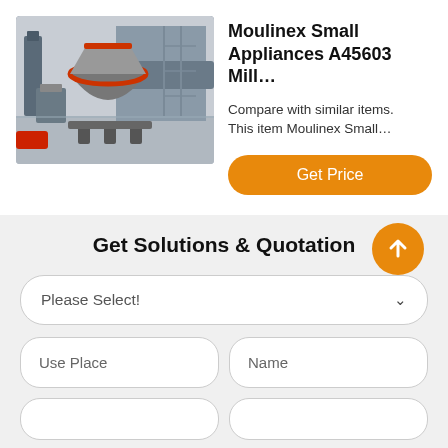[Figure (photo): Industrial cone mill machine in a factory setting, large red and grey machinery on a factory floor with high ceiling and industrial equipment in background]
Moulinex Small Appliances A45603 Mill…
Compare with similar items.
This item Moulinex Small…
Get Price
Get Solutions & Quotation
Please Select!
Use Place
Name